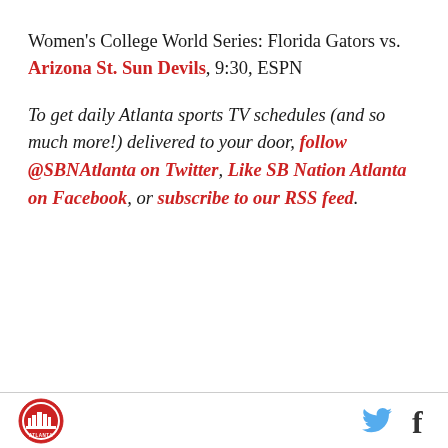Women's College World Series: Florida Gators vs. Arizona St. Sun Devils, 9:30, ESPN
To get daily Atlanta sports TV schedules (and so much more!) delivered to your door, follow @SBNAtlanta on Twitter, Like SB Nation Atlanta on Facebook, or subscribe to our RSS feed.
[Figure (logo): SB Nation Atlanta circular logo with red border and city skyline silhouette]